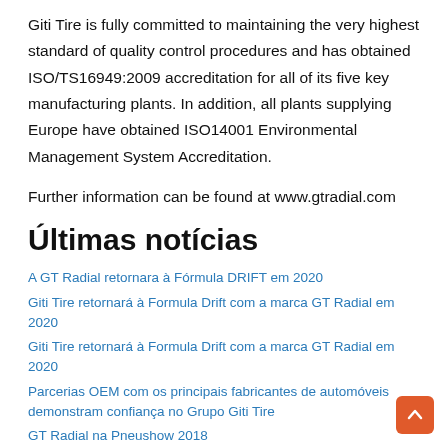Giti Tire is fully committed to maintaining the very highest standard of quality control procedures and has obtained ISO/TS16949:2009 accreditation for all of its five key manufacturing plants. In addition, all plants supplying Europe have obtained ISO14001 Environmental Management System Accreditation.
Further information can be found at www.gtradial.com
Últimas notícias
A GT Radial retornara à Fórmula DRIFT em 2020
Giti Tire retornará à Formula Drift com a marca GT Radial em 2020
Giti Tire retornará à Formula Drift com a marca GT Radial em 2020
Parcerias OEM com os principais fabricantes de automóveis demonstram confiança no Grupo Giti Tire
GT Radial na Pneushow 2018